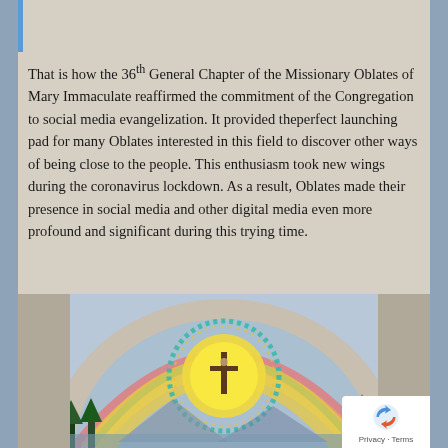That is how the 36th General Chapter of the Missionary Oblates of Mary Immaculate reaffirmed the commitment of the Congregation to social media evangelization. It provided theperfect launching pad for many Oblates interested in this field to discover other ways of being close to the people. This enthusiasm took new wings during the coronavirus lockdown. As a result, Oblates made their presence in social media and other digital media even more profound and significant during this trying time.
[Figure (illustration): A mural or painting depicting a large rainbow arch with a glowing golden sun at its center, featuring a crucifix silhouette. The scene is framed by an arched architectural opening, with trees and mountains in the background below the rainbow.]